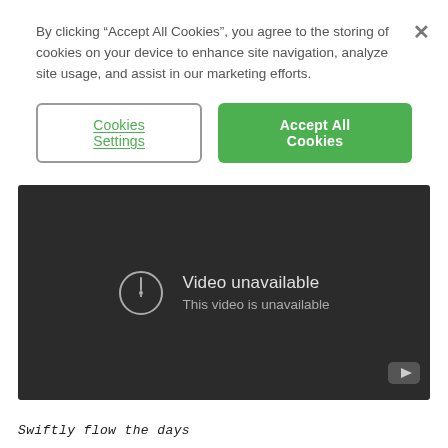By clicking “Accept All Cookies”, you agree to the storing of cookies on your device to enhance site navigation, analyze site usage, and assist in our marketing efforts.
[Figure (screenshot): Cookie consent dialog with two buttons: 'Cookies Settings' (outlined, green text) and 'Accept All Cookies' (solid green button), plus a close X button]
[Figure (screenshot): Video player showing 'Video unavailable / This video is unavailable' message on dark background with YouTube icon in bottom right]
Swiftly flow the days